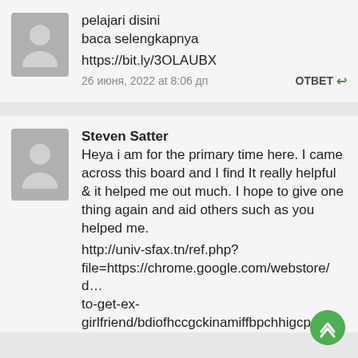pelajari disini
baca selengkapnya
https://bit.ly/3OLAUBX
26 июня, 2022 at 8:06 дп
ОТВЕТ
Steven Satter
Heya i am for the primary time here. I came across this board and I find It really helpful & it helped me out much. I hope to give one thing again and aid others such as you helped me.
http://univ-sfax.tn/ref.php?file=https://chrome.google.com/webstore/d…to-get-ex-girlfriend/bdiofhccgckinamiffbpchhigcpciho